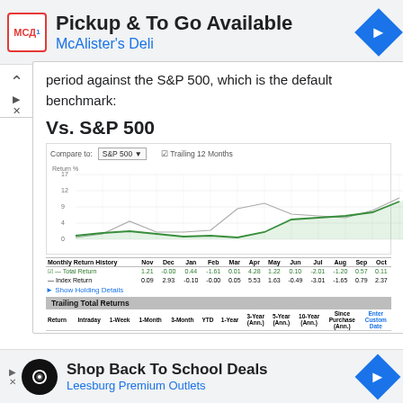[Figure (screenshot): Top advertisement banner: McAlister's Deli - Pickup & To Go Available]
period against the S&P 500, which is the default benchmark:
Vs. S&P 500
[Figure (line-chart): Line chart showing Total Return vs Index Return over trailing 12 months (Nov through Oct). Two lines: green (Total Return) and gray/white (Index Return) showing returns from approximately 0 to 17%.]
| Monthly Return History | Nov | Dec | Jan | Feb | Mar | Apr | May | Jun | Jul | Aug | Sep | Oct |
| --- | --- | --- | --- | --- | --- | --- | --- | --- | --- | --- | --- | --- |
| ✓ — Total Return | 1.21 | -0.00 | 0.44 | -1.61 | 0.01 | 4.28 | 1.22 | 0.10 | -2.01 | -1.20 | 0.57 | 0.11 |
| — Index Return | 0.09 | 2.93 | -0.10 | -0.00 | 0.05 | 5.53 | 1.63 | -0.49 | -3.01 | -1.65 | 0.79 | 2.37 |
► Show Holding Details
| Trailing Total Returns |
| --- |
| Return | Intraday | 1-Week | 1-Month | 3-Month | YTD | 1-Year | 3-Year (Ann.) | 5-Year (Ann.) | 10-Year (Ann.) | Since Purchase (Ann.) | Enter Custom Date |
| --- | --- | --- | --- | --- | --- | --- | --- | --- | --- | --- | --- |
[Figure (screenshot): Bottom advertisement banner: Leesburg Premium Outlets - Shop Back To School Deals]